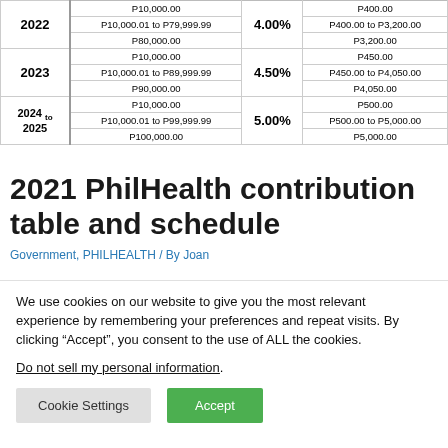| Year | Monthly Basic Salary | Premium Rate | Monthly Premium |
| --- | --- | --- | --- |
| 2022 | P10,000.00 | 4.00% | P400.00 |
| 2022 | P10,000.01 to P79,999.99 | 4.00% | P400.00 to P3,200.00 |
| 2022 | P80,000.00 | 4.00% | P3,200.00 |
| 2023 | P10,000.00 | 4.50% | P450.00 |
| 2023 | P10,000.01 to P89,999.99 | 4.50% | P450.00 to P4,050.00 |
| 2023 | P90,000.00 | 4.50% | P4,050.00 |
| 2024 to 2025 | P10,000.00 | 5.00% | P500.00 |
| 2024 to 2025 | P10,000.01 to P99,999.99 | 5.00% | P500.00 to P5,000.00 |
| 2024 to 2025 | P100,000.00 | 5.00% | P5,000.00 |
2021 PhilHealth contribution table and schedule
Government, PHILHEALTH / By Joan
We use cookies on our website to give you the most relevant experience by remembering your preferences and repeat visits. By clicking “Accept”, you consent to the use of ALL the cookies. Do not sell my personal information.